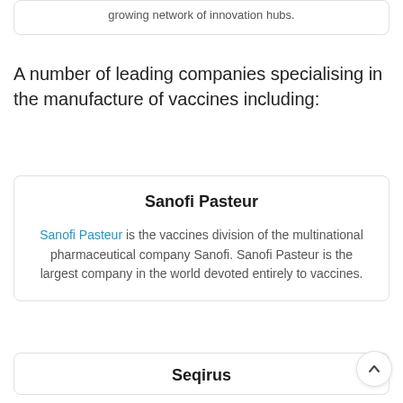growing network of innovation hubs.
A number of leading companies specialising in the manufacture of vaccines including:
Sanofi Pasteur
Sanofi Pasteur is the vaccines division of the multinational pharmaceutical company Sanofi. Sanofi Pasteur is the largest company in the world devoted entirely to vaccines.
Seqirus